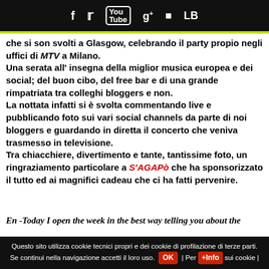f  [twitter]  [youtube]  g+  [instagram]  LB
che si son svolti a Glasgow, celebrando il party propio negli uffici di MTV a Milano.
Una serata all' insegna della miglior musica europea e dei social; del buon cibo, del free bar e di una grande rimpatriata tra colleghi bloggers e non.
La nottata infatti si è svolta commentando live e pubblicando foto sui vari social channels da parte di noi bloggers e guardando in diretta il concerto che veniva trasmesso in televisione.
Tra chiacchiere, divertimento e tante, tantissime foto, un ringraziamento particolare a S'AGAPò che ha sponsorizzato il tutto ed ai magnifici cadeau che ci ha fatti pervenire.
En -Today I open the week in the best way telling you about the
Questo sito utilizza cookie tecnici propri e dei cookie di profilazione di terze parti. Se continui nella navigazione accetti il loro uso. OK | Per +Info sui cookie |